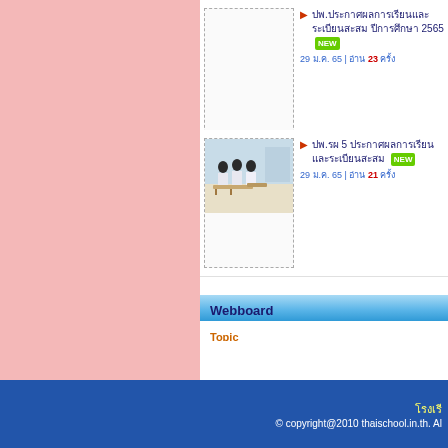ปพ.ประกาศผลการเรียนและระเบียนสะสม ปีการศึกษา 2565 NEW 29 ม.ค. 65 | อ่าน 23 ครั้ง
ปพ.รผ 5 ประกาศผลการเรียนและระเบียนสะสม NEW 29 ม.ค. 65 | อ่าน 21 ครั้ง
Webboard
Topic
โรงเรี © copyright@2010 thaischool.in.th. Al